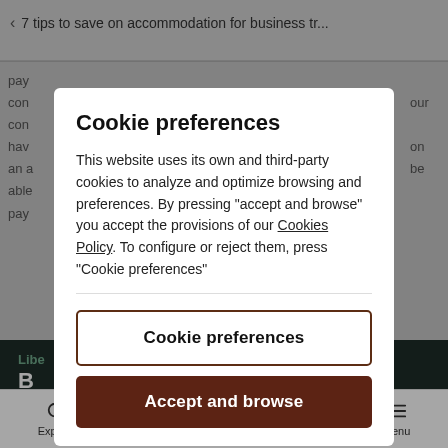< 7 tips to save on accommodation for business tr...
Cookie preferences
This website uses its own and third-party cookies to analyze and optimize browsing and preferences. By pressing "accept and browse" you accept the provisions of our Cookies Policy. To configure or reject them, press "Cookie preferences"
Cookie preferences
Accept and browse
Explore  Contact  My place  Menu